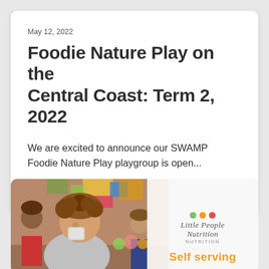May 12, 2022
Foodie Nature Play on the Central Coast: Term 2, 2022
We are excited to announce our SWAMP Foodie Nature Play playgroup is open...
by Little People Nutrition
[Figure (photo): A young child with curly hair drinking from a cup in a colorful classroom setting, with other children in the background. A white panel on the right shows the Little People Nutrition logo with colored dots and the text 'Self serving' in orange.]